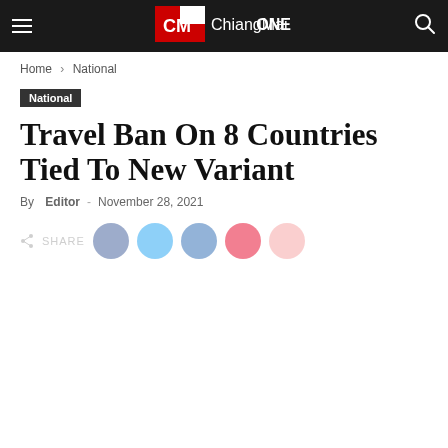ChiangMaiONE
Home › National
National
Travel Ban On 8 Countries Tied To New Variant
By Editor - November 28, 2021
[Figure (other): Social share buttons row: share icon label plus 5 colored circle social media buttons (Facebook, Twitter, LinkedIn, Pinterest, unknown)]